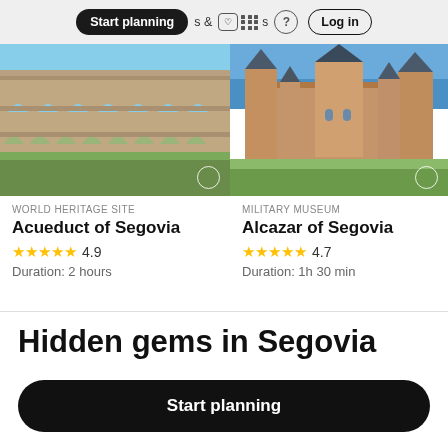Start planning | & activities | (?) | Log in
[Figure (photo): Photo of the Aqueduct of Segovia, ancient Roman stone arches against a blue sky]
WORLD HERITAGE SITE
Acueduct of Segovia
★★★★★ 4.9
Duration: 2 hours
[Figure (photo): Photo of the Alcazar of Segovia, medieval castle with spired towers against a blue sky]
MILITARY MUSEUM
Alcazar of Segovia
★★★★★ 4.7
Duration: 1h 30 min
Hidden gems in Segovia
Start planning